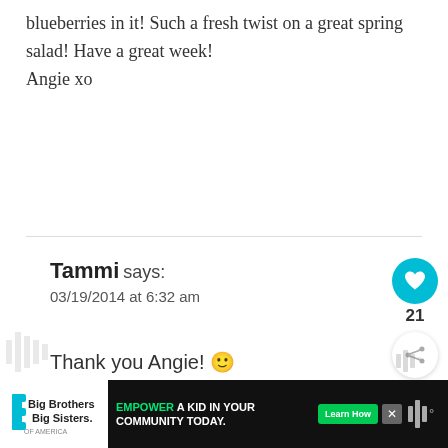blueberries in it! Such a fresh twist on a great spring salad! Have a great week! Angie xo
Reply
Tammi says:
03/19/2014 at 6:32 am
Thank you Angie! 🙂
[Figure (infographic): Circular teal heart/like button with count 21 below it, and a share button below that]
[Figure (infographic): What's Next widget showing a food image thumbnail with text 'WHAT'S NEXT' and 'Easy Corn and Avocado...']
[Figure (infographic): Advertisement banner: Big Brothers Big Sisters logo on left, center shows 'EMPOWER A KID IN YOUR COMMUNITY TODAY.' with green Learn How button, close X button, and right side logo]
[Figure (infographic): Faint watermark/logos at bottom left and right of page]